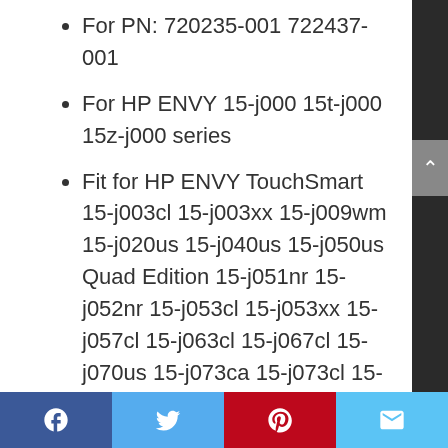For PN: 720235-001 722437-001
For HP ENVY 15-j000 15t-j000 15z-j000 series
Fit for HP ENVY TouchSmart 15-j003cl 15-j003xx 15-j009wm 15-j020us 15-j040us 15-j050us Quad Edition 15-j051nr 15-j052nr 15-j053cl 15-j053xx 15-j057cl 15-j063cl 15-j067cl 15-j070us 15-j073ca 15-j073cl 15-j078ca 15-j080us 15-j107cl 15-j119wm 15-j150us 15-j151nr 15-j152nr 15-j170us 15-j173ca 15-j173cl 15-j178ca 15t-j000 CTO 15t-j100 15z-